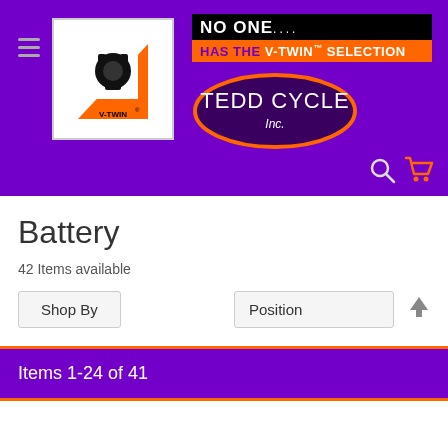[Figure (logo): Website header with purple background containing V-Twin logo, 'NO ONE... HAS THE V-TWIN SELECTION' banner, and Tedd Cycle Inc. oval logo]
Battery
42 Items available
Shop By | Position ↑
Items 1-24 of 41